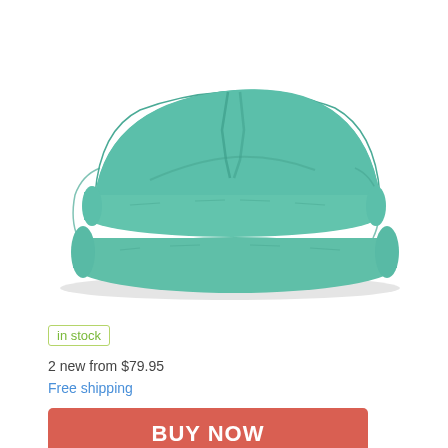[Figure (photo): A folded teal/mint green comforter or duvet, neatly stacked, photographed on a white background.]
in stock
2 new from $79.95
Free shipping
BUY NOW